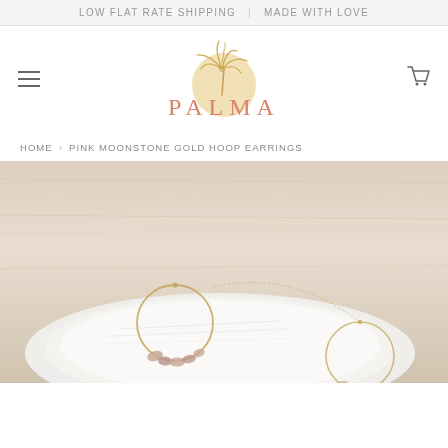LOW FLAT RATE SHIPPING | MADE WITH LOVE
[Figure (logo): PALMA brand logo with stylized palm tree illustration above the text PALMA in coral/salmon color with a golden sun circle behind it]
HOME › PINK MOONSTONE GOLD HOOP EARRINGS
[Figure (photo): Gold hoop earrings with pink moonstone chips displayed on a white seashell against a light wood background]